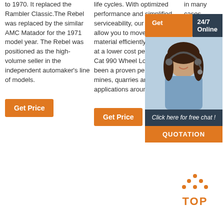to 1970. It replaced the Rambler Classic.The Rebel was replaced by the similar AMC Matador for the 1971 model year. The Rebel was positioned as the high-volume seller in the independent automaker's line of models.
[Figure (other): Orange Get Price button]
life cycles. With optimized performance and simplified serviceability, our machines allow you to move more material efficiently and safely at a lower cost per ton. The Cat 990 Wheel Loader has been a proven performer in mines, quarries and industrial applications around the world.
[Figure (other): Orange Get Price button]
in many cases comply with OSHA standards.
[Figure (other): Chat widget with 24/7 Online header, customer service photo, Click here for free chat, and QUOTATION button]
[Figure (other): TOP icon with orange dots and text]